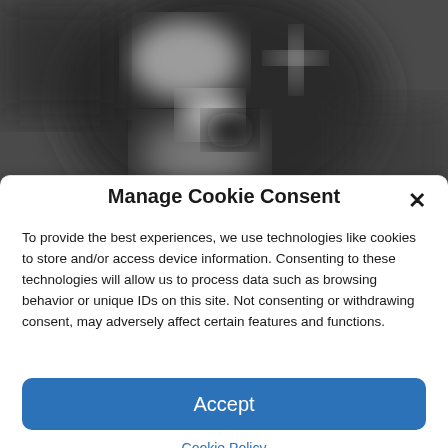[Figure (photo): Blurred grayscale image showing abstract shapes resembling letters or symbols, background of a webpage]
Manage Cookie Consent
To provide the best experiences, we use technologies like cookies to store and/or access device information. Consenting to these technologies will allow us to process data such as browsing behavior or unique IDs on this site. Not consenting or withdrawing consent, may adversely affect certain features and functions.
Accept
Cookie Policy